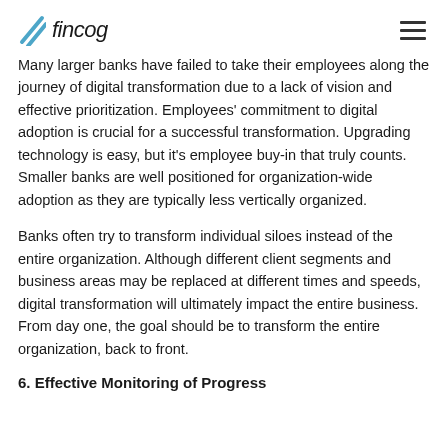fincog
Many larger banks have failed to take their employees along the journey of digital transformation due to a lack of vision and effective prioritization. Employees' commitment to digital adoption is crucial for a successful transformation. Upgrading technology is easy, but it's employee buy-in that truly counts. Smaller banks are well positioned for organization-wide adoption as they are typically less vertically organized.
Banks often try to transform individual siloes instead of the entire organization. Although different client segments and business areas may be replaced at different times and speeds, digital transformation will ultimately impact the entire business. From day one, the goal should be to transform the entire organization, back to front.
6. Effective Monitoring of Progress